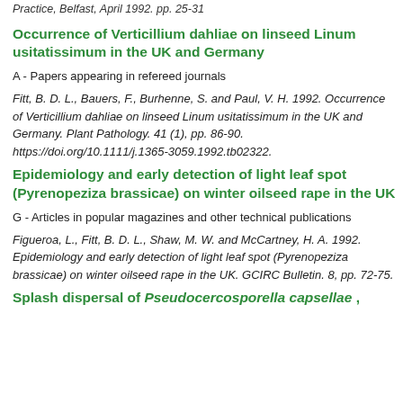Practice, Belfast, April 1992. pp. 25-31
Occurrence of Verticillium dahliae on linseed Linum usitatissimum in the UK and Germany
A - Papers appearing in refereed journals
Fitt, B. D. L., Bauers, F., Burhenne, S. and Paul, V. H. 1992. Occurrence of Verticillium dahliae on linseed Linum usitatissimum in the UK and Germany. Plant Pathology. 41 (1), pp. 86-90. https://doi.org/10.1111/j.1365-3059.1992.tb02322.
Epidemiology and early detection of light leaf spot (Pyrenopeziza brassicae) on winter oilseed rape in the UK
G - Articles in popular magazines and other technical publications
Figueroa, L., Fitt, B. D. L., Shaw, M. W. and McCartney, H. A. 1992. Epidemiology and early detection of light leaf spot (Pyrenopeziza brassicae) on winter oilseed rape in the UK. GCIRC Bulletin. 8, pp. 72-75.
Splash dispersal of Pseudocercosporella capsellae ,